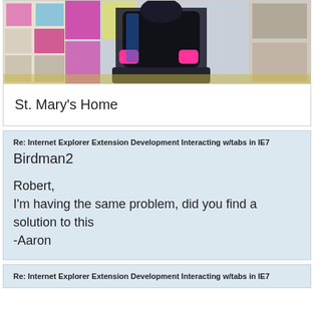[Figure (photo): Photo of a person in a wheelchair wearing a black jacket with pink gloves, in a room with colorful storage cubes and shelving.]
St. Mary's Home
Re: Internet Explorer Extension Development Interacting w/tabs in IE7
Birdman2

Robert,
I'm having the same problem, did you find a solution to this
-Aaron
Re: Internet Explorer Extension Development Interacting w/tabs in IE7